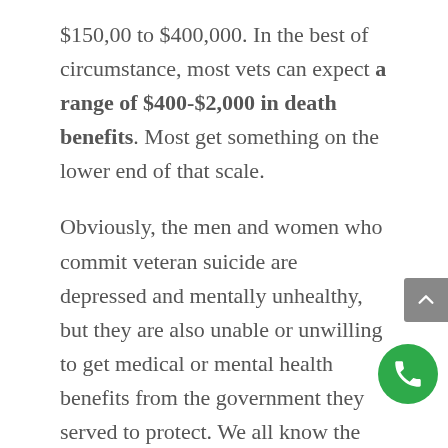$150,00 to $400,000. In the best of circumstance, most vets can expect a range of $400-$2,000 in death benefits. Most get something on the lower end of that scale.
Obviously, the men and women who commit veteran suicide are depressed and mentally unhealthy, but they are also unable or unwilling to get medical or mental health benefits from the government they served to protect. We all know the VA struggles to do right by them, but to make matters worse, these vets are usually living at or above the poverty level. That means that when they commit suicide, financial distress is one of